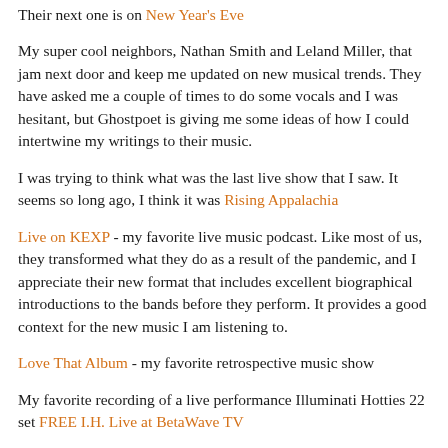Their next one is on New Year's Eve
My super cool neighbors, Nathan Smith and Leland Miller, that jam next door and keep me updated on new musical trends. They have asked me a couple of times to do some vocals and I was hesitant, but Ghostpoet is giving me some ideas of how I could intertwine my writings to their music.
I was trying to think what was the last live show that I saw. It seems so long ago, I think it was Rising Appalachia
Live on KEXP - my favorite live music podcast. Like most of us, they transformed what they do as a result of the pandemic, and I appreciate their new format that includes excellent biographical introductions to the bands before they perform. It provides a good context for the new music I am listening to.
Love That Album - my favorite retrospective music show
My favorite recording of a live performance Illuminati Hotties 22 set FREE I.H. Live at BetaWave TV